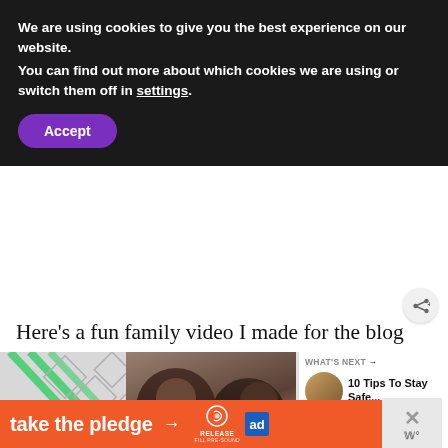We are using cookies to give you the best experience on our website.
You can find out more about which cookies we are using or switch them off in settings.
Accept
Here’s a fun family video I made for the blog as an example! You can also head to my YouTube channel for more current videos (and be sure to subscribe)! I add new videos regularly.
[Figure (screenshot): Video thumbnail showing green diagonal lines pattern, two people close together, black bar with green EMPOWER text, and what's next sidebar with 10 Tips To Stay Safe...]
[Figure (infographic): Orange ad banner reading 'take the pledge' with arrow, Release logo and ad badge]